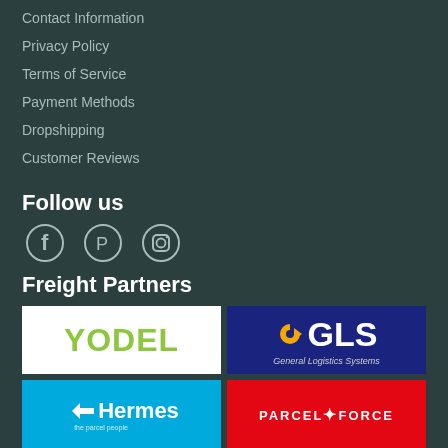Contact Information
Privacy Policy
Terms of Service
Payment Methods
Dropshipping
Customer Reviews
Follow us
[Figure (illustration): Social media icons: Facebook (f), Pinterest (circle with P), Instagram (camera outline circle)]
Freight Partners
[Figure (logo): Yodel logo - green text on white background]
[Figure (logo): GLS General Logistics Systems logo - white arrow and text on dark blue background]
[Figure (logo): Hermes the parcel people logo - white text on blue background]
[Figure (logo): Parcelforce Worldwide logo - white text on red background]